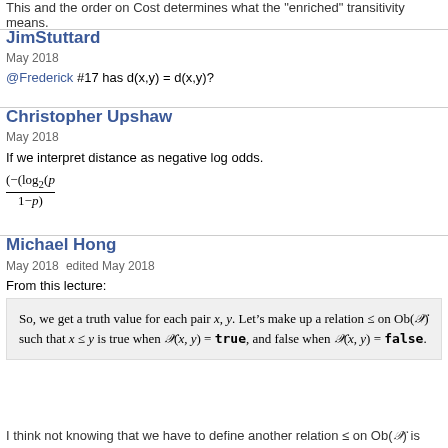This and the order on Cost determines what the "enriched" transitivity means.
JimStuttard
May 2018
@Frederick #17 has d(x,y) = d(x,y)?
Christopher Upshaw
May 2018
If we interpret distance as negative log odds.
Michael Hong
May 2018   edited May 2018
From this lecture:
So, we get a truth value for each pair x, y. Let's make up a relation ≤ on Ob(X) such that x ≤ y is true when X(x,y) = true, and false when X(x,y) = false.
I think not knowing that we have to define another relation ≤ on Ob(X) is